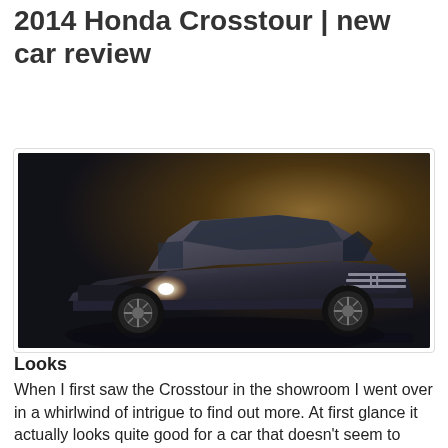2014 Honda Crosstour | new car review
[Figure (photo): 2014 Honda Crosstour dark grey/black crossover car photographed from front-left angle in a dramatic studio setting]
Looks
When I first saw the Crosstour in the showroom I went over in a whirlwind of intrigue to find out more. At first glance it actually looks quite good for a car that doesn't seem to belong to any specific class. The front is large and neatly arranged, the sides are smooth, but the back does look a bit bottom heavy, almost like it needs a workout to shed some